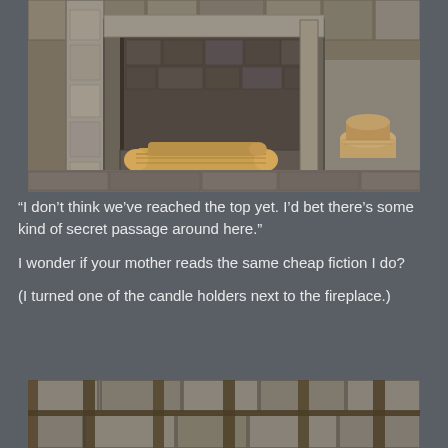[Figure (screenshot): Video game screenshot showing a stone fireplace with wooden logs inside, set in a stone castle wall interior. The fireplace has ornate stone pillars and there are additional logs stacked to the right.]
“I don’t think we’ve reached the top yet. I’d bet there’s some kind of secret passage around here.”
I wonder if your mother reads the same cheap fiction I do?
(I turned one of the candle holders next to the fireplace.)
[Figure (screenshot): Video game screenshot showing close-up of stone brick wall with wooden beams/bars in front, creating a grid-like pattern over the stone texture.]